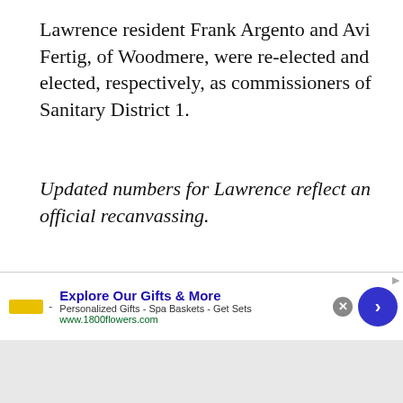Lawrence resident Frank Argento and Avi Fertig, of Woodmere, were re-elected and elected, respectively, as commissioners of Sanitary District 1.
Updated numbers for Lawrence reflect an official recanvassing.
SUPPORT JOURNALISM
The coronavirus crisis is threatening many of the important businesses you rely on every day, but don't let it take away your source for local news.
Now more than ever, we need your help to ensure nothing but the best in hyperlocal community journalism comes straight to you.
Explore Our Gifts & More
Personalized Gifts - Spa Baskets - Get Sets
www.1800flowers.com